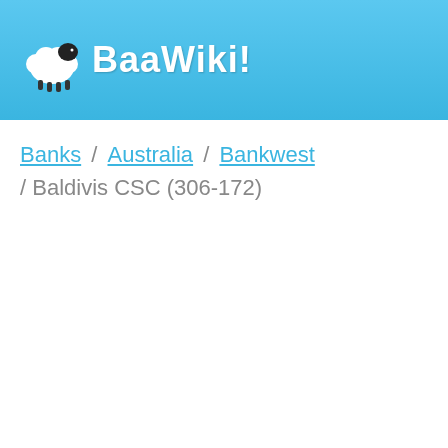BaaWiki!
Banks / Australia / Bankwest / Baldivis CSC (306-172)